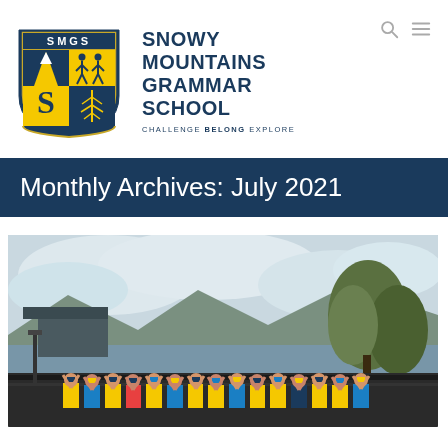[Figure (logo): SMGS shield crest logo — navy blue and gold shield with mountain, people, and leaf imagery, 'SMGS' text at top]
SNOWY MOUNTAINS GRAMMAR SCHOOL — CHALLENGE BELONG EXPLORE
Monthly Archives: July 2021
[Figure (photo): Group of school children in yellow and blue uniforms standing along a railing outdoors, with trees, a lake, and mountains in the background under a cloudy sky]